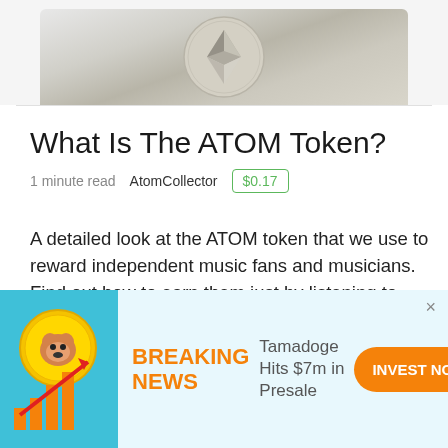[Figure (photo): Silver Ethereum coin photographed on a light grey background]
What Is The ATOM Token?
1 minute read    AtomCollector    $0.17
A detailed look at the ATOM token that we use to reward independent music fans and musicians. Find out how to earn them just by listening to music and how to redeem them for multiple rewards!   Our Website:https://www.AtomCollectorRecords.comOur
[Figure (illustration): Advertisement banner: Shiba Inu dog coin with rising bar chart and upward arrow on teal background. BREAKING NEWS text in orange. Tamadoge Hits $7m in Presale. INVEST NOW orange button.]